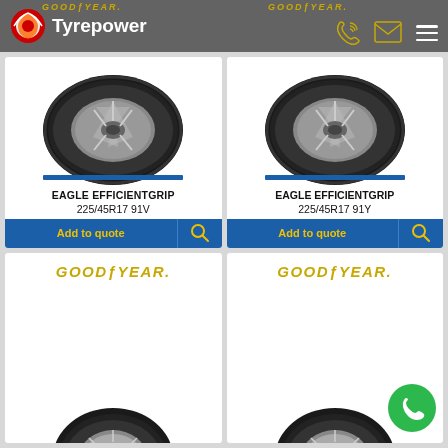Tyrepower
[Figure (photo): Goodyear Eagle EfficientGrip tyre product photo - left]
EAGLE EFFICIENTGRIP
225/45R17 91V
[Figure (photo): Goodyear Eagle EfficientGrip tyre product photo - right]
EAGLE EFFICIENTGRIP
225/45R17 91Y
[Figure (logo): Goodyear logo bottom left card with partial tyre]
[Figure (logo): Goodyear logo bottom right card with partial tyre]